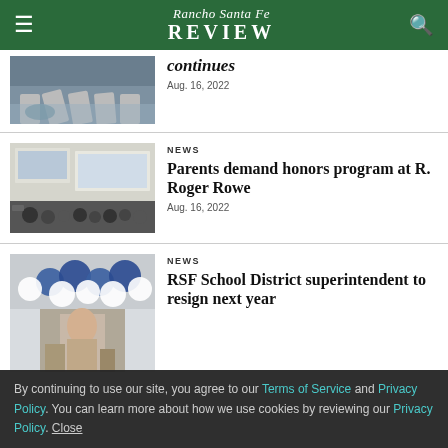Rancho Santa Fe Review
[Figure (photo): Flooded area with debris or rolled items partially submerged]
continues
Aug. 16, 2022
NEWS
[Figure (photo): School board meeting room with audience seated in chairs facing a panel of officials at a table, projector screen visible]
Parents demand honors program at R. Roger Rowe
Aug. 16, 2022
NEWS
[Figure (photo): Person standing in front of blue and white balloon decorations in an indoor venue]
RSF School District superintendent to resign next year
By continuing to use our site, you agree to our Terms of Service and Privacy Policy. You can learn more about how we use cookies by reviewing our Privacy Policy. Close